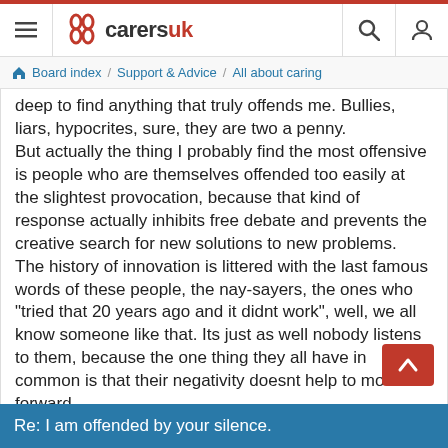carersuk
Board index / Support & Advice / All about caring
deep to find anything that truly offends me. Bullies, liars, hypocrites, sure, they are two a penny.
But actually the thing I probably find the most offensive is people who are themselves offended too easily at the slightest provocation, because that kind of response actually inhibits free debate and prevents the creative search for new solutions to new problems.
The history of innovation is littered with the last famous words of these people, the nay-sayers, the ones who "tried that 20 years ago and it didnt work", well, we all know someone like that. Its just as well nobody listens to them, because the one thing they all have in common is that their negativity doesnt help to move us forward.
Re: I am offended by your silence.